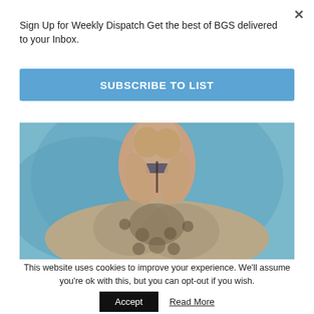Sign Up for Weekly Dispatch Get the best of BGS delivered to your Inbox.
SUBSCRIBE TO LIST
[Figure (photo): A woman in a floral/leopard print dress sitting with her hands clasped near her face, against a teal/blue background.]
This website uses cookies to improve your experience. We'll assume you're ok with this, but you can opt-out if you wish.
Accept
Read More